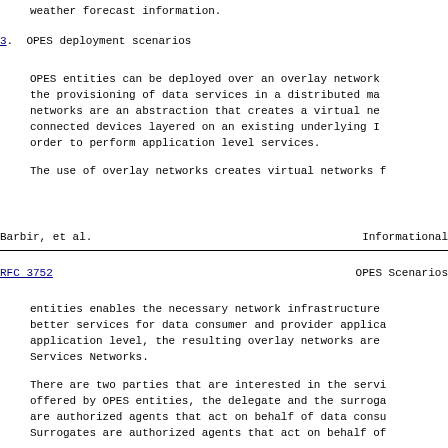weather forecast information.
3.  OPES deployment scenarios
OPES entities can be deployed over an overlay network the provisioning of data services in a distributed man networks are an abstraction that creates a virtual net connected devices layered on an existing underlying IP order to perform application level services.
The use of overlay networks creates virtual networks f
Barbir, et al.                    Informational
RFC 3752                        OPES Scenarios
entities enables the necessary network infrastructure better services for data consumer and provider applica application level, the resulting overlay networks are Services Networks.
There are two parties that are interested in the servi offered by OPES entities, the delegate and the surroga are authorized agents that act on behalf of data consu Surrogates are authorized agents that act on behalf of